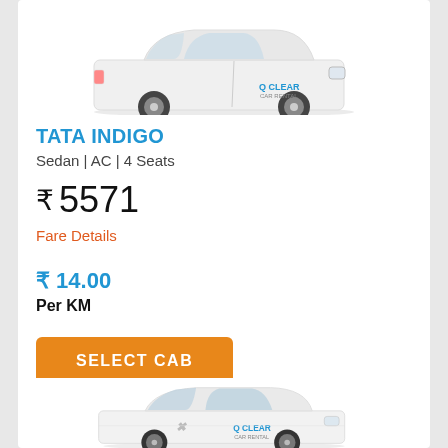[Figure (photo): White Tata Indigo sedan car with Clear Car Rental branding, shown from front-right angle]
TATA INDIGO
Sedan | AC | 4 Seats
₹ 5571
Fare Details
₹ 14.00
Per KM
SELECT CAB
[Figure (photo): White Maruti Suzuki Swift hatchback with Clear Car Rental branding, shown from front-right angle]